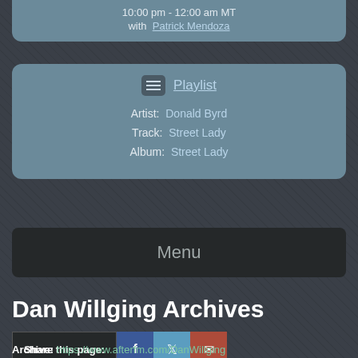10:00 pm - 12:00 am MT with Patrick Mendoza
Playlist
Artist: Donald Byrd
Track: Street Lady
Album: Street Lady
Menu
Dan Willging Archives
Share this page:
Archive: https://www.afterfm.com/DanWillging